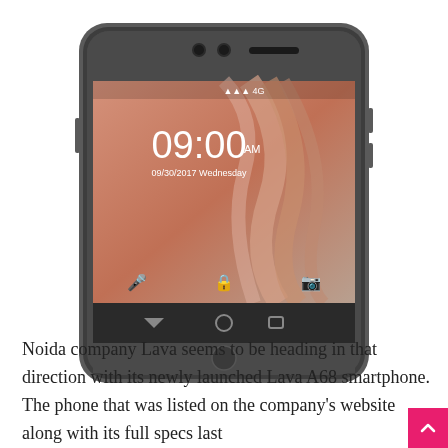[Figure (photo): A Lava A68 smartphone displayed with its screen showing a lock screen with time 09:00 AM, salmon/orange wallpaper with flowing design, dark gray chassis with navigation buttons below the screen.]
Noida company Lava seems to be heading in that direction with its newly launched Lava A68 smartphone. The phone that was listed on the company's website along with its full specs last